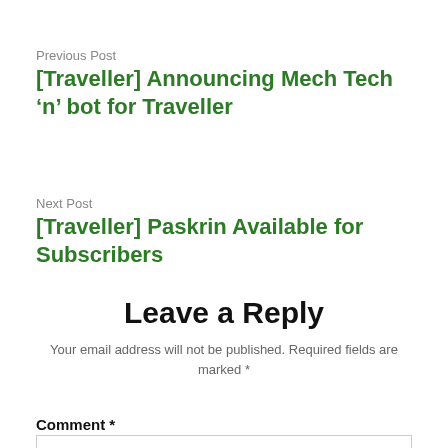Previous Post
[Traveller] Announcing Mech Tech ‘n’ bot for Traveller
Next Post
[Traveller] Paskrin Available for Subscribers
Leave a Reply
Your email address will not be published. Required fields are marked *
Comment *